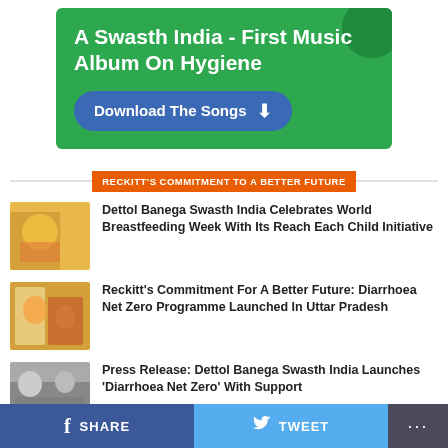[Figure (infographic): Green banner advertisement: 'A Swasth India - First Music Album On Hygiene' with a blue 'Download The Songs' button]
RECKITT'S COMMITMENT TO A BETTER FUTURE
[Figure (photo): Photo of a baby breastfeeding]
Dettol Banega Swasth India Celebrates World Breastfeeding Week With Its Reach Each Child Initiative
[Figure (photo): Photo of women and children in colorful clothing]
Reckitt's Commitment For A Better Future: Diarrhoea Net Zero Programme Launched In Uttar Pradesh
[Figure (photo): Photo of people at a press conference]
Press Release: Dettol Banega Swasth India Launches 'Diarrhoea Net Zero' With Support
SHARE   TWEET   ...